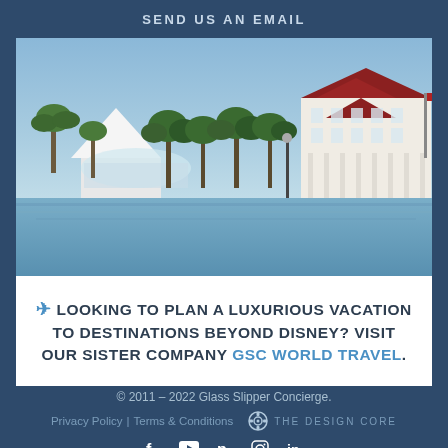SEND US AN EMAIL
[Figure (photo): Scenic view of Disney Grand Floridian Resort and spa across a lake with palm trees and lush green foliage]
✈ LOOKING TO PLAN A LUXURIOUS VACATION TO DESTINATIONS BEYOND DISNEY? VISIT OUR SISTER COMPANY GSC WORLD TRAVEL.
© 2011 – 2022 Glass Slipper Concierge. | Privacy Policy | Terms & Conditions | THE DESIGN CORE | Facebook | YouTube | Pinterest | Instagram | LinkedIn